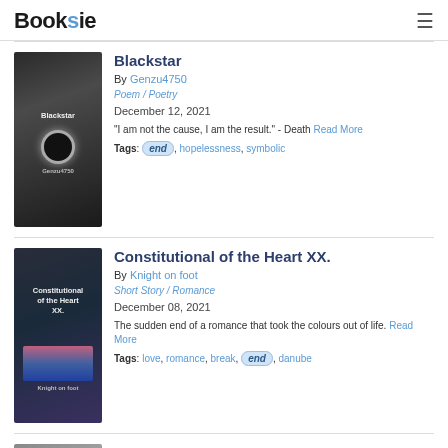Booksie
Blackstar
By Genzu4750
Poem / Poetry
December 12, 2021
“I am not the cause, I am the result.” - Death Read More
Tags: end, hopelessness, symbolic
Constitutional of the Heart XX.
By Knight on foot
Short Story / Romance
December 08, 2021
The sudden end of a romance that took the colours out of life. Read More
Tags: love, romance, break, end, danube
Cancer Has Many Forms
By datakon
Poem / Poetry
October 18, 2021